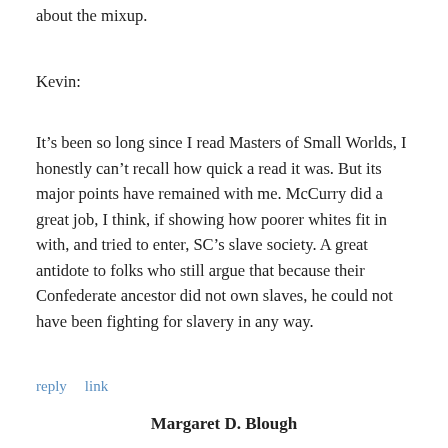about the mixup.
Kevin:
It’s been so long since I read Masters of Small Worlds, I honestly can’t recall how quick a read it was. But its major points have remained with me. McCurry did a great job, I think, if showing how poorer whites fit in with, and tried to enter, SC’s slave society. A great antidote to folks who still argue that because their Confederate ancestor did not own slaves, he could not have been fighting for slavery in any way.
reply    link
Margaret D. Blough